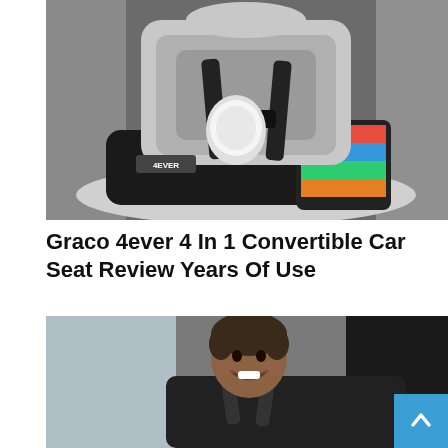[Figure (photo): Close-up photo of a Graco 4ever convertible car seat installed in a vehicle, showing the gray padded seat with harness straps, a cup holder, and colorful reclining angle indicators on the base. The Graco 4ever logo is visible on the side.]
Graco 4ever 4 In 1 Convertible Car Seat Review Years Of Use
[Figure (photo): Photo of a young smiling child with curly hair sitting in a Graco car seat in the back of a vehicle, viewed from outside through the window.]